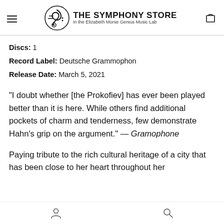THE SYMPHONY STORE in the Elizabeth Morse Genius Music Lab
Discs: 1
Record Label: Deutsche Grammophon
Release Date: March 5, 2021
“I doubt whether [the Prokofiev] has ever been played better than it is here. While others find additional pockets of charm and tenderness, few demonstrate Hahn’s grip on the argument.” — Gramophone
Paying tribute to the rich cultural heritage of a city that has been close to her heart throughout her
user account icon | search icon